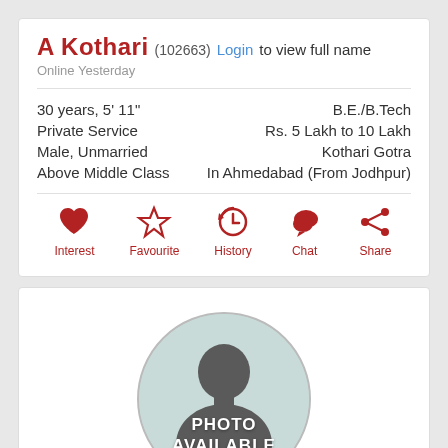A Kothari (102663) Login to view full name
Online Yesterday
30 years, 5' 11"
Private Service
Male, Unmarried
Above Middle Class
B.E./B.Tech
Rs. 5 Lakh to 10 Lakh
Kothari Gotra
In Ahmedabad (From Jodhpur)
[Figure (infographic): Action icons: Interest (heart), Favourite (star), History (clock), Chat (speech bubble), Share (share icon)]
[Figure (photo): Circular profile photo placeholder with silhouette and text PHOTO AVAILABLE]